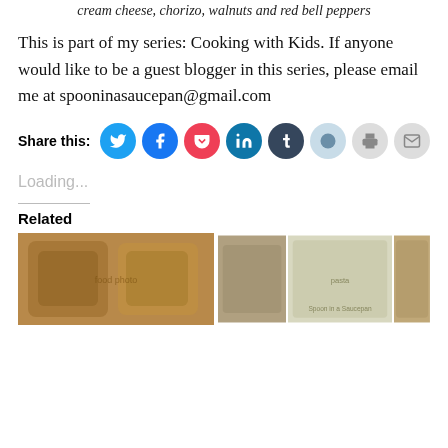cream cheese, chorizo, walnuts and red bell peppers
This is part of my series: Cooking with Kids. If anyone would like to be a guest blogger in this series, please email me at spooninasaucepan@gmail.com
Share this:
Loading...
Related
[Figure (photo): Photo of cooked food patties/fritters on the left side]
[Figure (photo): Collage of pasta dishes on the right side]